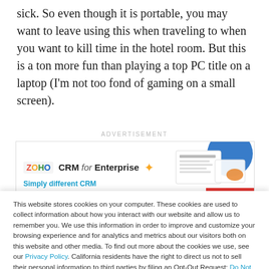sick. So even though it is portable, you may want to leave using this when traveling to when you want to kill time in the hotel room. But this is a ton more fun than playing a top PC title on a laptop (I'm not too fond of gaming on a small screen).
[Figure (screenshot): Advertisement banner for Zoho CRM for Enterprise with logo, star icon, graphic elements, and 'Simply different CRM' tagline with a red bar accent.]
This website stores cookies on your computer. These cookies are used to collect information about how you interact with our website and allow us to remember you. We use this information in order to improve and customize your browsing experience and for analytics and metrics about our visitors both on this website and other media. To find out more about the cookies we use, see our Privacy Policy. California residents have the right to direct us not to sell their personal information to third parties by filing an Opt-Out Request: Do Not Sell My Personal Info.